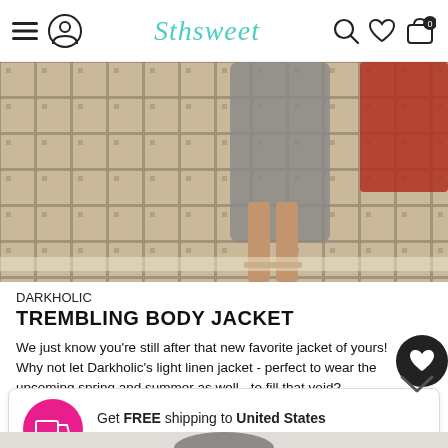Sthsweet — navigation header with hamburger menu, account icon, search, wishlist, cart (0)
[Figure (photo): Bottom half of a person wearing a grey dress and sandals, standing on beige tiled pavement. A red car is partially visible on the right.]
DARKHOLIC
TREMBLING BODY JACKET
We just know you're still after that new favorite jacket of yours! Why not let Darkholic's light linen jacket - perfect to wear the upcoming spring and summer as well - to fill that void?
SHOP NOW
Get FREE shipping to United States for orders over $100 USD
[Figure (photo): Bottom portion of a female model with dark hair, wearing a black outfit, against a light grey background.]